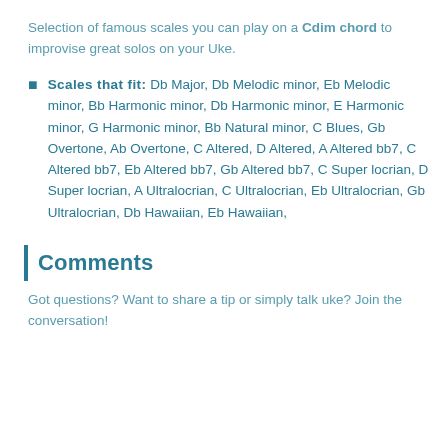Selection of famous scales you can play on a Cdim chord to improvise great solos on your Uke.
Scales that fit: Db Major, Db Melodic minor, Eb Melodic minor, Bb Harmonic minor, Db Harmonic minor, E Harmonic minor, G Harmonic minor, Bb Natural minor, C Blues, Gb Overtone, Ab Overtone, C Altered, D Altered, A Altered bb7, C Altered bb7, Eb Altered bb7, Gb Altered bb7, C Super locrian, D Super locrian, A Ultralocrian, C Ultralocrian, Eb Ultralocrian, Gb Ultralocrian, Db Hawaiian, Eb Hawaiian,
Comments
Got questions? Want to share a tip or simply talk uke? Join the conversation!